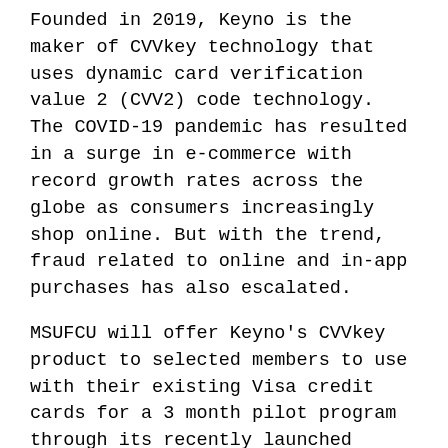Founded in 2019, Keyno is the maker of CVVkey technology that uses dynamic card verification value 2 (CVV2) code technology. The COVID-19 pandemic has resulted in a surge in e-commerce with record growth rates across the globe as consumers increasingly shop online. But with the trend, fraud related to online and in-app purchases has also escalated.
MSUFCU will offer Keyno's CVVkey product to selected members to use with their existing Visa credit cards for a 3 month pilot program through its recently launched innovation center, The Lab at MSUFCU. Once activated, cardholders can download and use the Keyno mobile app to obtain a dynamic CVV2 code for online and in-app purchases, rather than using the static 3-digit code on the back of their payment card. A new code will be generated every 6 hours on the app using the Visa dCVV2 Generate